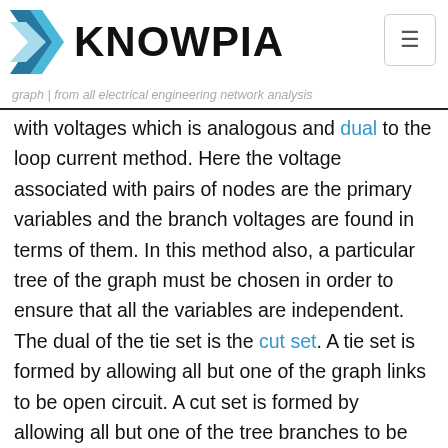KNOWPIA
with voltages which is analogous and dual to the loop current method. Here the voltage associated with pairs of nodes are the primary variables and the branch voltages are found in terms of them. In this method also, a particular tree of the graph must be chosen in order to ensure that all the variables are independent. The dual of the tie set is the cut set. A tie set is formed by allowing all but one of the graph links to be open circuit. A cut set is formed by allowing all but one of the tree branches to be short circuit. The cut set consists of the tree branch which was not short-circuited and any of the links which are not short-circuited by the other tree branches. A cut [icon] f a graph produces two disjoint subgraphs, that is, it cuts the graph into two parts, and is the minimum set